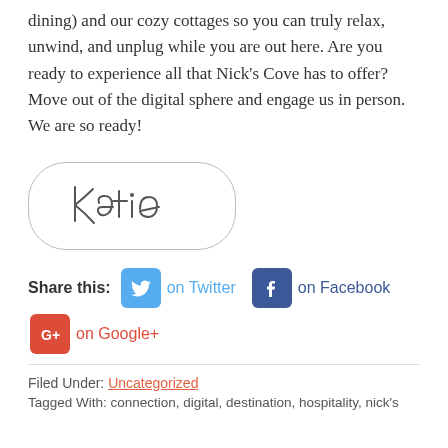dining) and our cozy cottages so you can truly relax, unwind, and unplug while you are out here. Are you ready to experience all that Nick's Cove has to offer? Move out of the digital sphere and engage us in person. We are so ready!
[Figure (illustration): Handwritten signature reading 'Katie' inside a rounded rectangle border]
Share this: [Twitter icon] on Twitter [Facebook icon] on Facebook [Google+ icon] on Google+
Filed Under: Uncategorized
Tagged With: ...